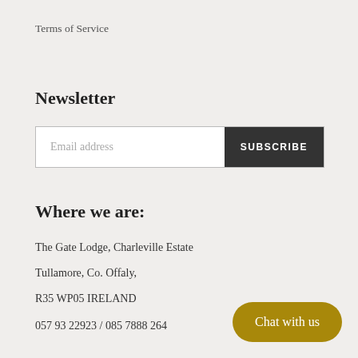Terms of Service
Newsletter
Email address  SUBSCRIBE
Where we are:
The Gate Lodge, Charleville Estate
Tullamore, Co. Offaly,
R35 WP05 IRELAND
057 93 22923 / 085 7888 264
Chat with us